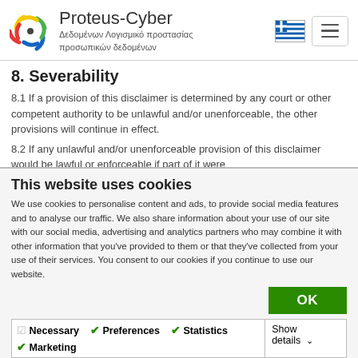Proteus-Cyber Δεδομένων Λογισμικό προστασίας προσωπικών δεδομένων
8. Severability
8.1 If a provision of this disclaimer is determined by any court or other competent authority to be unlawful and/or unenforceable, the other provisions will continue in effect.
8.2 If any unlawful and/or unenforceable provision of this disclaimer would be lawful or enforceable if part of it were
This website uses cookies
We use cookies to personalise content and ads, to provide social media features and to analyse our traffic. We also share information about your use of our site with our social media, advertising and analytics partners who may combine it with other information that you've provided to them or that they've collected from your use of their services. You consent to our cookies if you continue to use our website.
OK
Necessary  Preferences  Statistics  Marketing  Show details